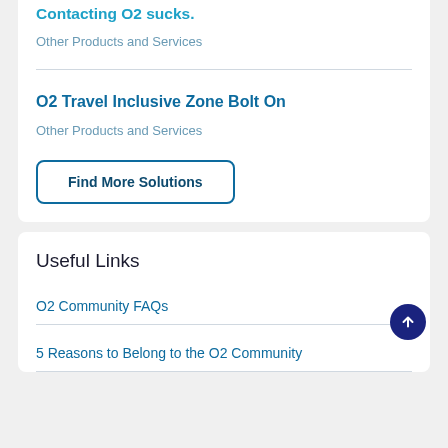Contacting O2 sucks.
Other Products and Services
O2 Travel Inclusive Zone Bolt On
Other Products and Services
Find More Solutions
Useful Links
O2 Community FAQs
5 Reasons to Belong to the O2 Community